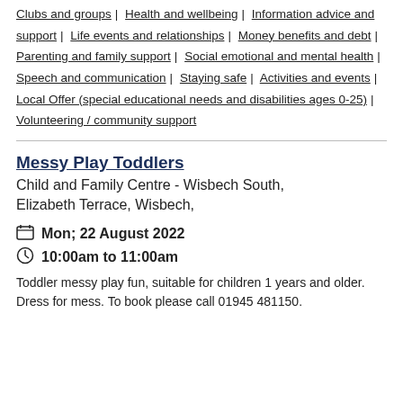Clubs and groups | Health and wellbeing | Information advice and support | Life events and relationships | Money benefits and debt | Parenting and family support | Social emotional and mental health | Speech and communication | Staying safe | Activities and events | Local Offer (special educational needs and disabilities ages 0-25) | Volunteering / community support
Messy Play Toddlers
Child and Family Centre - Wisbech South, Elizabeth Terrace, Wisbech,
Mon; 22 August 2022
10:00am to 11:00am
Toddler messy play fun, suitable for children 1 years and older. Dress for mess. To book please call 01945 481150.